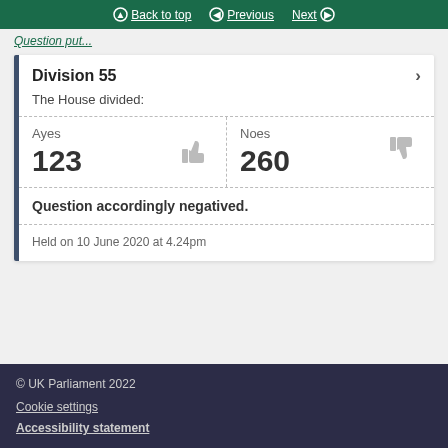Back to top | Previous | Next
Question put...
Division 55
The House divided:
| Ayes | Noes |
| --- | --- |
| 123 | 260 |
Question accordingly negatived.
Held on 10 June 2020 at 4.24pm
© UK Parliament 2022
Cookie settings
Accessibility statement